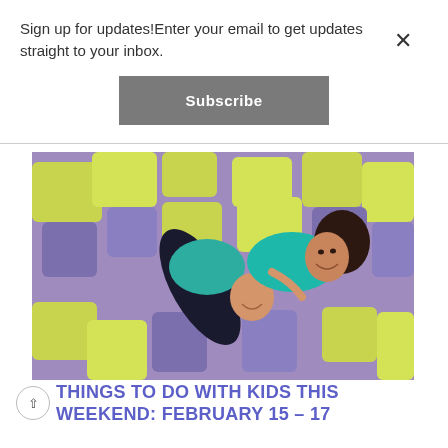Sign up for updates!Enter your email to get updates straight to your inbox.
Subscribe
[Figure (photo): Mother and young child laughing and lying among large yellow-green and purple foam blocks in a trampoline park foam pit.]
THINGS TO DO WITH KIDS THIS WEEKEND: FEBRUARY 15 – 17